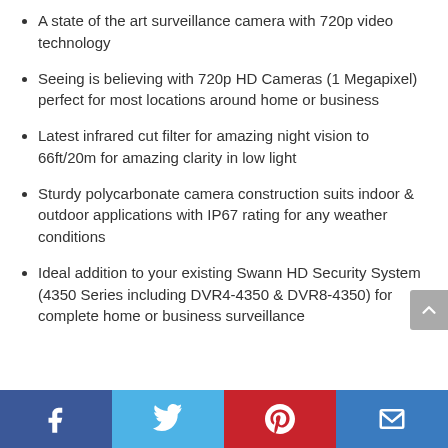A state of the art surveillance camera with 720p video technology
Seeing is believing with 720p HD Cameras (1 Megapixel) perfect for most locations around home or business
Latest infrared cut filter for amazing night vision to 66ft/20m for amazing clarity in low light
Sturdy polycarbonate camera construction suits indoor & outdoor applications with IP67 rating for any weather conditions
Ideal addition to your existing Swann HD Security System (4350 Series including DVR4-4350 & DVR8-4350) for complete home or business surveillance
Social share bar: Facebook, Twitter, Pinterest, Email